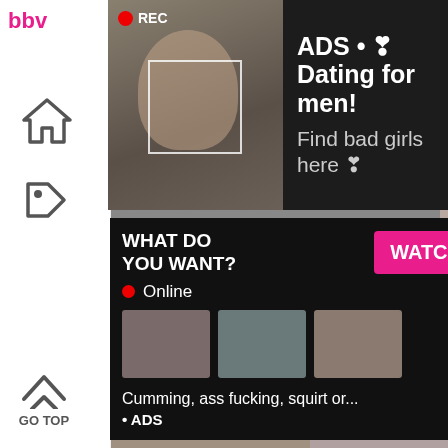[Figure (screenshot): Adult website screenshot showing video grid with advertising overlays. Top ad overlay shows a selfie photo with REC indicator and dark panel with text 'ADS • ❣ Dating for men! Find bad girls here ❣'. Bottom ad overlay shows 'WHAT DO YOU WANT?' with WATCH button, Online indicator, thumbnail images, and text 'Cumming, ass fucking, squirt or... • ADS'. Left sidebar shows home and tag icons with GO TOP button. Video thumbnails visible with duration badges 34:43 and 10:00.]